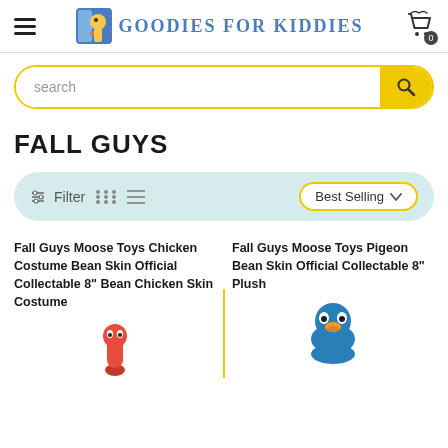Goodies For Kiddies
search
FALL GUYS
Filter  Best Selling
Fall Guys Moose Toys Chicken Costume Bean Skin Official Collectable 8" Bean Chicken Skin Costume
Fall Guys Moose Toys Pigeon Bean Skin Official Collectable 8" Plush